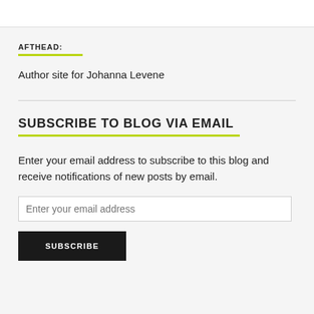AFTHEAD:
Author site for Johanna Levene
SUBSCRIBE TO BLOG VIA EMAIL
Enter your email address to subscribe to this blog and receive notifications of new posts by email.
Enter your email address
SUBSCRIBE